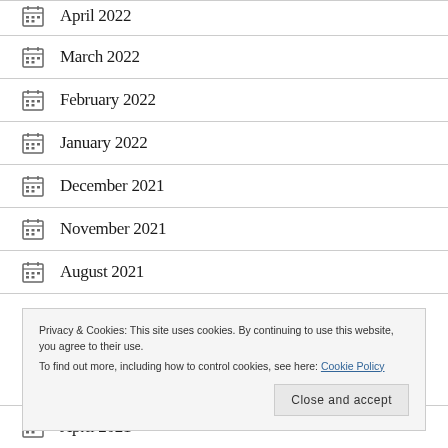April 2022
March 2022
February 2022
January 2022
December 2021
November 2021
August 2021
Privacy & Cookies: This site uses cookies. By continuing to use this website, you agree to their use. To find out more, including how to control cookies, see here: Cookie Policy
April 2021